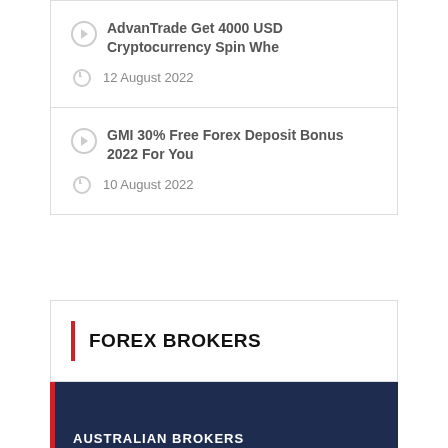AdvanTrade Get 4000 USD Cryptocurrency Spin Whe
12 August 2022
GMI 30% Free Forex Deposit Bonus 2022 For You
10 August 2022
FOREX BROKERS
ASIAN FOREX BROKERS
AUSTRALIAN BROKERS